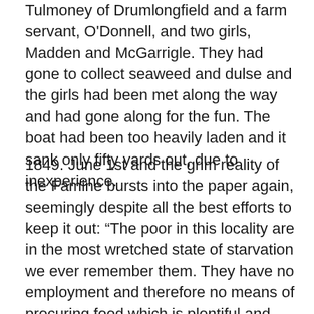Tulmoney of Drumlongfield and a farm servant, O'Donnell, and two girls, Madden and McGarrigle. They had gone to collect seaweed and dulse and the girls had been met along the way and had gone along for the fun. The boat had been too heavily laden and it sank only fifty yards out, due to inexperience.
1849. June 1st and the grim reality of the Famine bursts into the paper again, seemingly despite all the best efforts to keep it out: “The poor in this locality are in the most wretched state of starvation we ever remember them. They have no employment and therefore no means of procuring food which is plentiful and cheap — but what is that to them when they cannot procure a penny? In the year of the blight they had public relief extended to them. Now there is no such thing. They are more like skolotons than living beings. A man last week